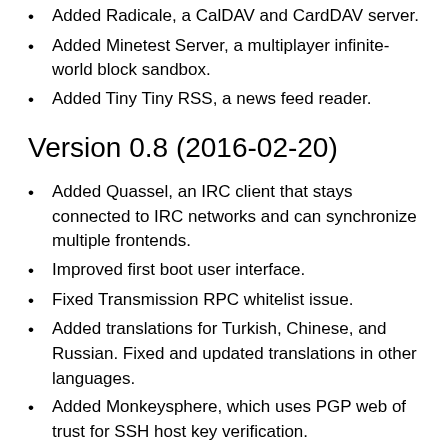Added Radicale, a CalDAV and CardDAV server.
Added Minetest Server, a multiplayer infinite-world block sandbox.
Added Tiny Tiny RSS, a news feed reader.
Version 0.8 (2016-02-20)
Added Quassel, an IRC client that stays connected to IRC networks and can synchronize multiple frontends.
Improved first boot user interface.
Fixed Transmission RPC whitelist issue.
Added translations for Turkish, Chinese, and Russian. Fixed and updated translations in other languages.
Added Monkeysphere, which uses PGP web of trust for SSH host key verification.
Added Let's Encrypt, to obtain certificates for domains, so that browser certificate warnings can